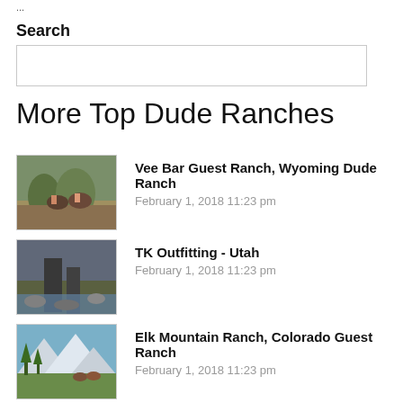...
Search
More Top Dude Ranches
Vee Bar Guest Ranch, Wyoming Dude Ranch
February 1, 2018 11:23 pm
TK Outfitting - Utah
February 1, 2018 11:23 pm
Elk Mountain Ranch, Colorado Guest Ranch
February 1, 2018 11:23 pm
Geronimo Trail Guest Ranch
February 1, 2018 11:23 pm